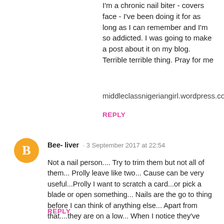I'm a chronic nail biter - covers face - I've been doing it for as long as I can remember and I'm so addicted. I was going to make a post about it on my blog. Terrible terrible thing. Pray for me
middleclassnigeriangirl.wordpress.com
REPLY
[Figure (illustration): Orange circular Blogger avatar icon with white B logo]
Bee- liver · 3 September 2017 at 22:54
Not a nail person.... Try to trim them but not all of them... Prolly leave like two... Cause can be very useful...Prolly I want to scratch a card...or pick a blade or open something... Nails are the go to thing before I can think of anything else... Apart from that....they are on a low... When I notice they've grown beyond my cute ratings for them....lol...
REPLY